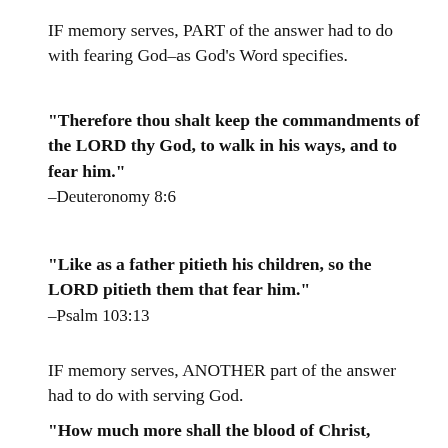IF memory serves, PART of the answer had to do with fearing God–as God's Word specifies.
“Therefore thou shalt keep the commandments of the LORD thy God, to walk in his ways, and to fear him.”
–Deuteronomy 8:6
“Like as a father pitieth his children, so the LORD pitieth them that fear him.”
–Psalm 103:13
IF memory serves, ANOTHER part of the answer had to do with serving God.
“How much more shall the blood of Christ,